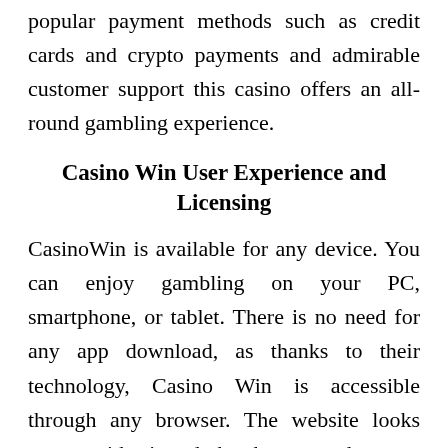popular payment methods such as credit cards and crypto payments and admirable customer support this casino offers an all-round gambling experience.
Casino Win User Experience and Licensing
CasinoWin is available for any device. You can enjoy gambling on your PC, smartphone, or tablet. There is no need for any app download, as thanks to their technology, Casino Win is accessible through any browser. The website looks great with its dark theme and every important option is right there on the reach. By clicking on the main menu icon in the left corner of the screen, you will get shortcuts to